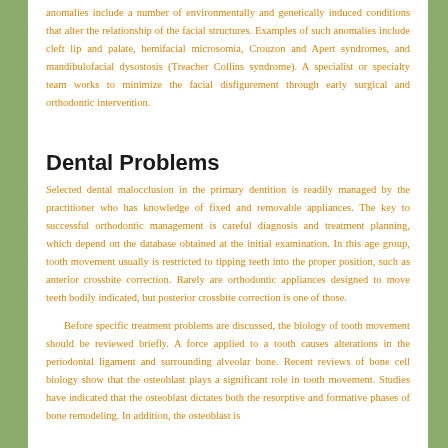anomalies include a number of environmentally and genetically induced conditions that alter the relationship of the facial structures. Examples of such anomalies include cleft lip and palate, hemifacial microsomia, Crouzon and Apert syndromes, and mandibulofacial dysostosis (Treacher Collins syndrome). A specialist or specialty team works to minimize the facial disfigurement through early surgical and orthodontic intervention.
Dental Problems
Selected dental malocclusion in the primary dentition is readily managed by the practitioner who has knowledge of fixed and removable appliances. The key to successful orthodontic management is careful diagnosis and treatment planning, which depend on the database obtained at the initial examination. In this age group, tooth movement usually is restricted to tipping teeth into the proper position, such as anterior crossbite correction. Rarely are orthodontic appliances designed to move teeth bodily indicated, but posterior crossbite correction is one of those.
Before specific treatment problems are discussed, the biology of tooth movement should be reviewed briefly. A force applied to a tooth causes alterations in the periodontal ligament and surrounding alveolar bone. Recent reviews of bone cell biology show that the osteoblast plays a significant role in tooth movement. Studies have indicated that the osteoblast dictates both the resorptive and formative phases of bone remodeling. In addition, the osteoblast is